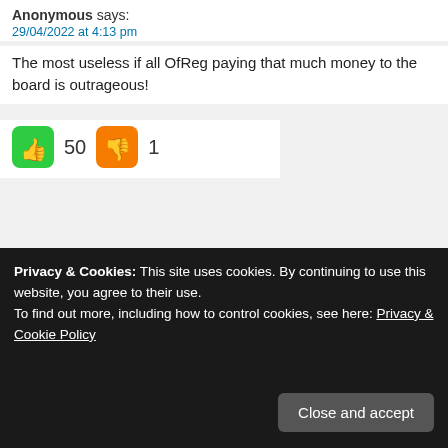Anonymous says: 29/04/2022 at 4:13 pm
The most useless if all OfReg paying that much money to the board is outrageous!
[Figure (infographic): Thumbs up (50 likes) and thumbs down (1 dislike) vote buttons]
[Figure (infographic): Yellow dashed border popup with white card: 'Keep journalism alive & reporters awake / Buy a cup of coffee for the CNS team' with coffee cup illustration and close X button]
Privacy & Cookies: This site uses cookies. By continuing to use this website, you agree to their use.
To find out more, including how to control cookies, see here: Privacy & Cookie Policy
Close and accept